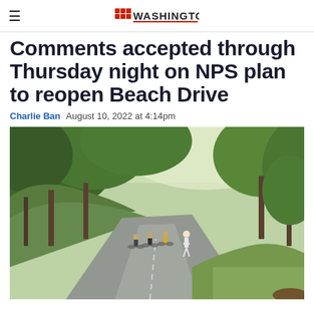≡  [BISNOW WASHINGTON logo]
Comments accepted through Thursday night on NPS plan to reopen Beach Drive
Charlie Ban   August 10, 2022 at 4:14pm
[Figure (photo): Cyclists and a runner on a tree-lined road (Beach Drive) with green grass and wooded hillside in the background on a sunny day.]